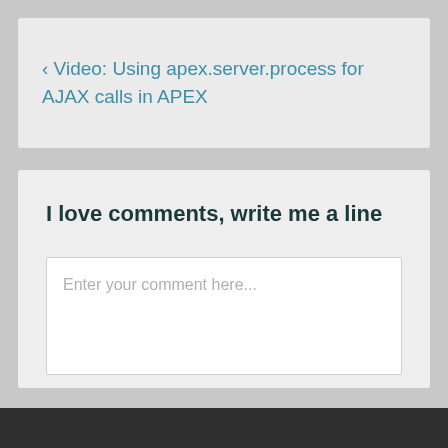‹ Video: Using apex.server.process for AJAX calls in APEX
I love comments, write me a line
Enter your comment here...